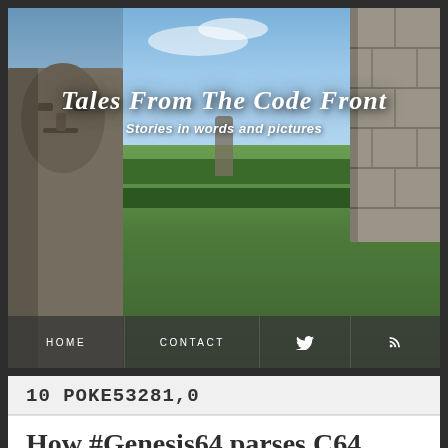[Figure (photo): Website header banner image showing a garden scene with stone statues/sculptures, green hedges, a sky with clouds, and stone wall on right. Overlaid with site title and navigation menu.]
Tales From The Code Front
Stories in words and pictures
HOME   CONTACT   [twitter icon]   [rss icon]
10 POKE53281,0
How #Genesis64 parses C64 BASIC (Part 2)
Or: how operators work and mathematical